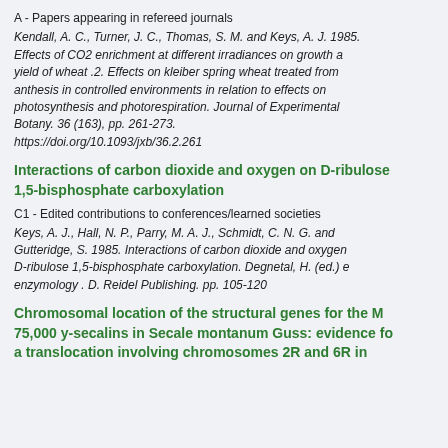A - Papers appearing in refereed journals
Kendall, A. C., Turner, J. C., Thomas, S. M. and Keys, A. J. 1985. Effects of CO2 enrichment at different irradiances on growth and yield of wheat .2. Effects on kleiber spring wheat treated from anthesis in controlled environments in relation to effects on photosynthesis and photorespiration. Journal of Experimental Botany. 36 (163), pp. 261-273. https://doi.org/10.1093/jxb/36.2.261
Interactions of carbon dioxide and oxygen on D-ribulose 1,5-bisphosphate carboxylation
C1 - Edited contributions to conferences/learned societies
Keys, A. J., Hall, N. P., Parry, M. A. J., Schmidt, C. N. G. and Gutteridge, S. 1985. Interactions of carbon dioxide and oxygen on D-ribulose 1,5-bisphosphate carboxylation. Degnetal, H. (ed.) enzymology . D. Reidel Publishing. pp. 105-120
Chromosomal location of the structural genes for the M 75,000 y-secalins in Secale montanum Guss: evidence for a translocation involving chromosomes 2R and 6R in